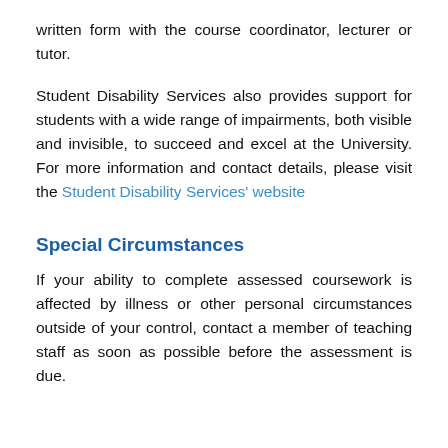written form with the course coordinator, lecturer or tutor.
Student Disability Services also provides support for students with a wide range of impairments, both visible and invisible, to succeed and excel at the University. For more information and contact details, please visit the Student Disability Services' website
Special Circumstances
If your ability to complete assessed coursework is affected by illness or other personal circumstances outside of your control, contact a member of teaching staff as soon as possible before the assessment is due.